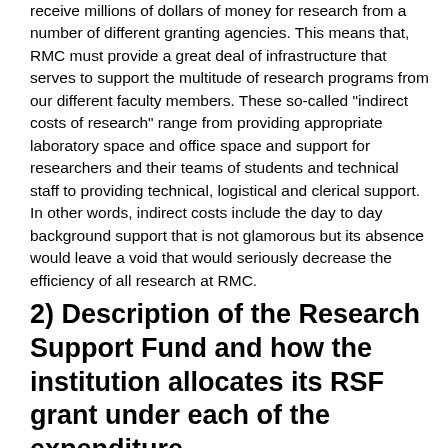receive millions of dollars of money for research from a number of different granting agencies. This means that, RMC must provide a great deal of infrastructure that serves to support the multitude of research programs from our different faculty members. These so-called "indirect costs of research" range from providing appropriate laboratory space and office space and support for researchers and their teams of students and technical staff to providing technical, logistical and clerical support. In other words, indirect costs include the day to day background support that is not glamorous but its absence would leave a void that would seriously decrease the efficiency of all research at RMC.
2) Description of the Research Support Fund and how the institution allocates its RSF grant under each of the expenditure